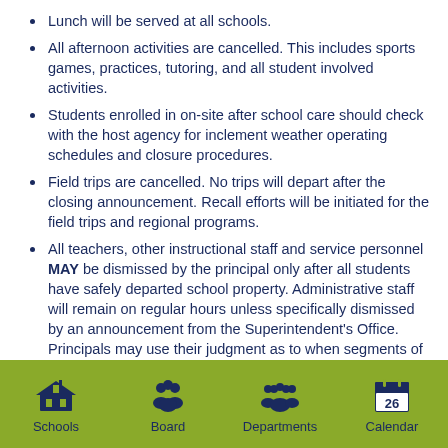Lunch will be served at all schools.
All afternoon activities are cancelled. This includes sports games, practices, tutoring, and all student involved activities.
Students enrolled in on-site after school care should check with the host agency for inclement weather operating schedules and closure procedures.
Field trips are cancelled. No trips will depart after the closing announcement. Recall efforts will be initiated for the field trips and regional programs.
All teachers, other instructional staff and service personnel MAY be dismissed by the principal only after all students have safely departed school property. Administrative staff will remain on regular hours unless specifically dismissed by an announcement from the Superintendent's Office. Principals may use their judgment as to when segments of their staff will be dismissed (i.e., the entire staff would not remain for a few children waiting). For communication purposes, school offices will be staffed until all school bus routes have
Schools   Board   Departments   Calendar